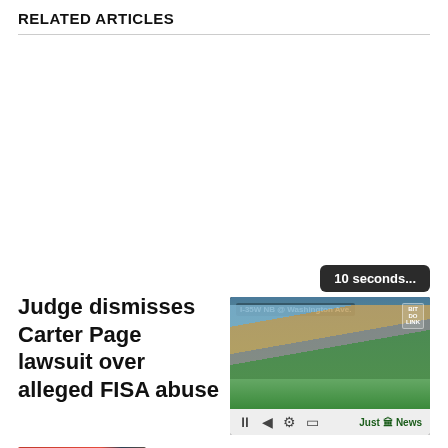RELATED ARTICLES
[Figure (screenshot): Video player showing crowd scene on I-35W NB @ Washington Ave, with playback controls and Just the News logo. Countdown bubble showing '10 seconds...']
Judge dismisses Carter Page lawsuit over alleged FISA abuse
[Figure (photo): Thumbnail photo of Jen Psaki and Donald Trump side by side]
Most People Don't Know These Facts About Jen Psaki (#2 Is Shocking!) - Ad